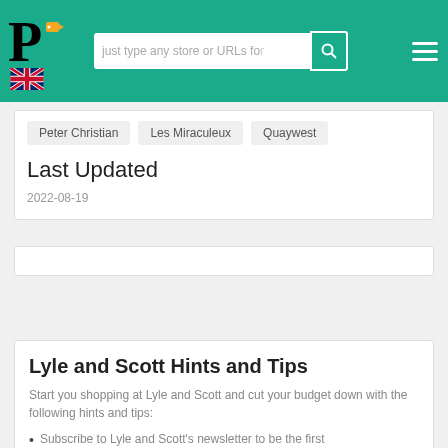just type any store or URLs for [search bar] [menu]
Peter Christian   Les Miraculeux   Quaywest
Last Updated
2022-08-19
★★★★★ Rate it !   4.5 / 81 Voted
Lyle and Scott Hints and Tips
Start you shopping at Lyle and Scott and cut your budget down with the following hints and tips:
Subscribe to Lyle and Scott's newsletter to be the first